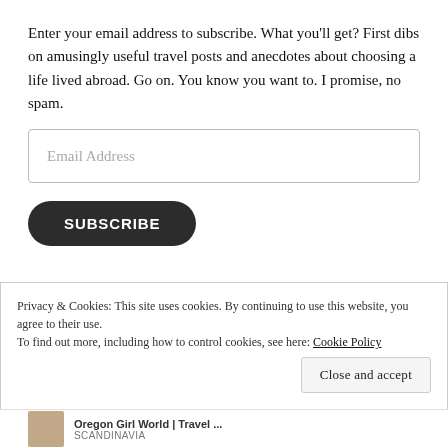Enter your email address to subscribe. What you'll get? First dibs on amusingly useful travel posts and anecdotes about choosing a life lived abroad. Go on. You know you want to. I promise, no spam.
Email Address
SUBSCRIBE
Privacy & Cookies: This site uses cookies. By continuing to use this website, you agree to their use. To find out more, including how to control cookies, see here: Cookie Policy
Close and accept
Oregon Girl World | Travel ...
SCANDINAVIA